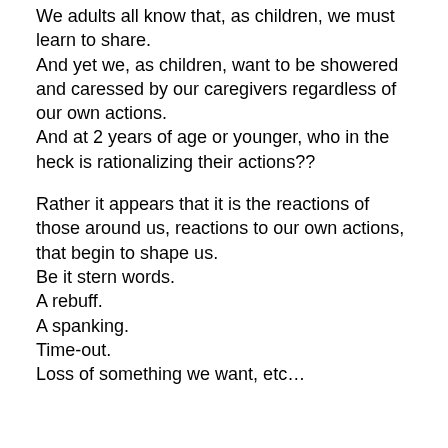We adults all know that, as children, we must learn to share.
And yet we, as children, want to be showered and caressed by our caregivers regardless of our own actions.
And at 2 years of age or younger, who in the heck is rationalizing their actions??
Rather it appears that it is the reactions of those around us, reactions to our own actions, that begin to shape us.
Be it stern words.
A rebuff.
A spanking.
Time-out.
Loss of something we want, etc…